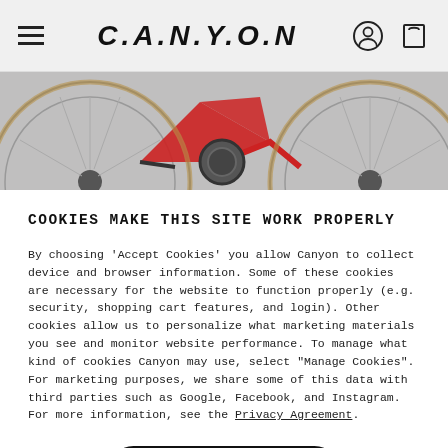CANYON navigation bar with hamburger menu, logo, and icons
[Figure (photo): Partial view of a red Canyon road/gravel bicycle showing wheels, drivetrain, and frame on a grey background]
COOKIES MAKE THIS SITE WORK PROPERLY
By choosing 'Accept Cookies' you allow Canyon to collect device and browser information. Some of these cookies are necessary for the website to function properly (e.g. security, shopping cart features, and login). Other cookies allow us to personalize what marketing materials you see and monitor website performance. To manage what kind of cookies Canyon may use, select "Manage Cookies". For marketing purposes, we share some of this data with third parties such as Google, Facebook, and Instagram. For more information, see the Privacy Agreement.
Accept Cookies
Manage Cookies